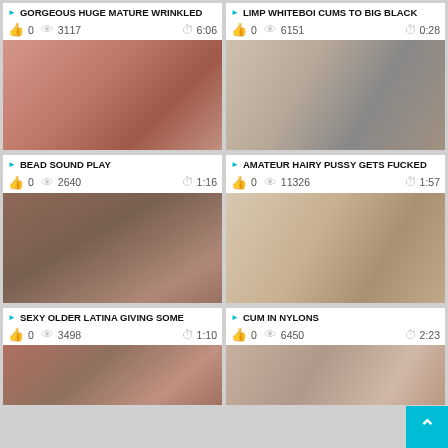GORGEOUS HUGE MATURE WRINKLED
0  3117  6:06
[Figure (photo): Close-up adult content thumbnail]
LIMP WHITEBOI CUMS TO BIG BLACK
0  6151  0:28
[Figure (photo): Close-up adult content thumbnail]
BEAD SOUND PLAY
0  2640  1:16
[Figure (photo): Adult content thumbnail]
AMATEUR HAIRY PUSSY GETS FUCKED
0  11326  1:57
[Figure (photo): Adult content thumbnail]
SEXY OLDER LATINA GIVING SOME
0  3498  1:10
[Figure (photo): Adult content thumbnail]
CUM IN NYLONS
0  6450  2:23
[Figure (photo): Adult content thumbnail]